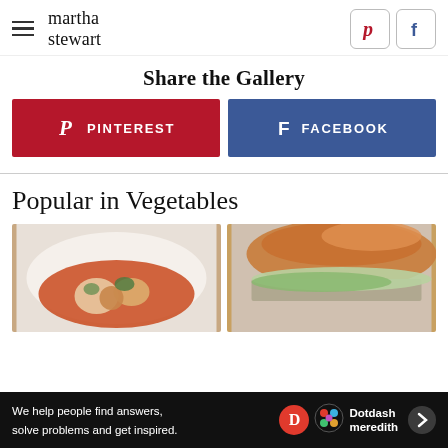martha stewart
Share the Gallery
[Figure (screenshot): Pinterest share button (red) and Facebook share button (blue)]
Popular in Vegetables
[Figure (photo): Bowl of shrimp and rice soup with okra in tomato broth]
[Figure (photo): Burger with green lettuce on a sesame bun]
[Figure (screenshot): Dotdash Meredith advertisement banner: We help people find answers, solve problems and get inspired.]